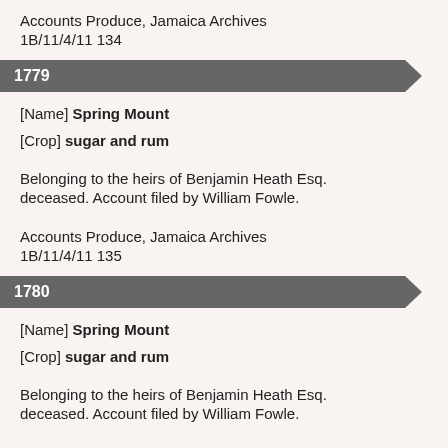Accounts Produce, Jamaica Archives
1B/11/4/11 134
1779
[Name] Spring Mount
[Crop] sugar and rum
Belonging to the heirs of Benjamin Heath Esq. deceased. Account filed by William Fowle.
Accounts Produce, Jamaica Archives
1B/11/4/11 135
1780
[Name] Spring Mount
[Crop] sugar and rum
Belonging to the heirs of Benjamin Heath Esq. deceased. Account filed by William Fowle.